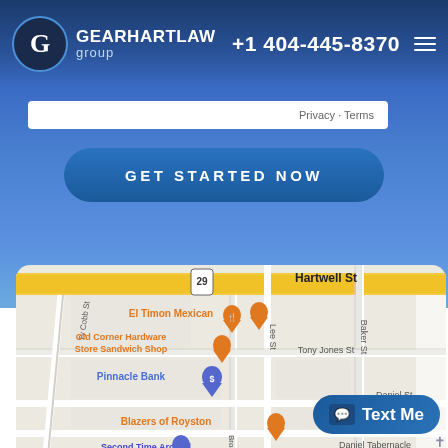GEARHARTLAW group | +1 404-445-8370
[Figure (screenshot): Google Maps screenshot showing Royston GA area with landmarks: El Timon Mexican, Old Corner Hardware Store Sandwich Shop, Pinnacle Bank, Blazers of Royston, Second Time Around, CME Church, Daniel Tabernacle. Streets: Hartwell St, Lee St, Baker St, Ty Cobb St, Tony Jones St, Daniel St, Broad St. Route 29 visible.]
GET STARTED NOW
Text Me